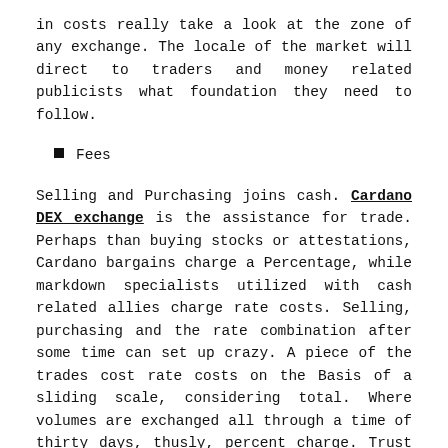in costs really take a look at the zone of any exchange. The locale of the market will direct to traders and money related publicists what foundation they need to follow.
Fees
Selling and Purchasing joins cash. Cardano DEX exchange is the assistance for trade. Perhaps than buying stocks or attestations, Cardano bargains charge a Percentage, while markdown specialists utilized with cash related allies charge rate costs. Selling, purchasing and the rate combination after some time can set up crazy. A piece of the trades cost rate costs on the Basis of a sliding scale, considering total. Where volumes are exchanged all through a time of thirty days, thusly, percent charge. Trust is a tremendous issue. In the event that the strange fragment is the essential power behind the intensification, by it will be difficult to get specialists to climb and state crypto-exchanging.